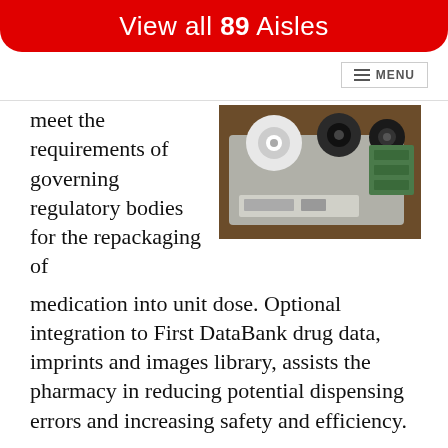View all 89 Aisles
MENU
meet the requirements of governing regulatory bodies for the repackaging of medication into unit dose. Optional integration to First DataBank drug data, imprints and images library, assists the pharmacy in reducing potential dispensing errors and increasing safety and efficiency.
[Figure (photo): A label printing/dispensing machine with rolls of labels on a desk surface, viewed from above at an angle.]
MPI's solutions for packaging oral solid medication include the Auto-Print® Standard packaging system, which packages sixty (60) packages per minute (ppm) and the Auto-Print® Premium 90 packages per minute